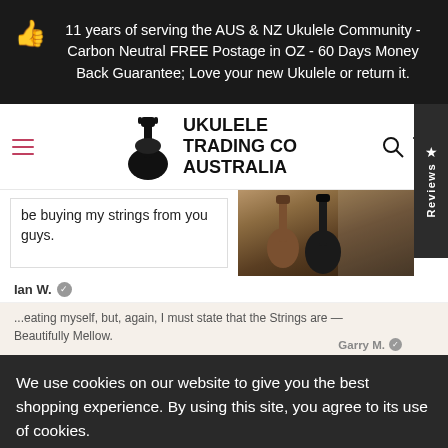11 years of serving the AUS & NZ Ukulele Community - Carbon Neutral FREE Postage in OZ - 60 Days Money Back Guarantee; Love your new Ukulele or return it.
[Figure (logo): Ukulele Trading Co Australia logo with ukulele player silhouette illustration]
be buying my strings from you guys.
[Figure (photo): Photo of acoustic guitars/ukuleles leaning against a window]
Ian W.
We use cookies on our website to give you the best shopping experience. By using this site, you agree to its use of cookies.
...eating myself, but, again, I must state that the Strings are -- Beautifully Mellow.
Garry M.